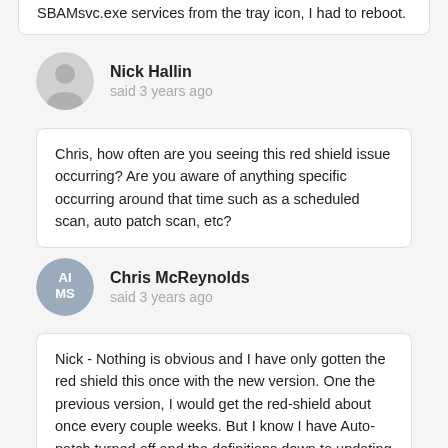SBAMsvc.exe services from the tray icon, I had to reboot.
Nick Hallin
said 3 years ago
Chris, how often are you seeing this red shield issue occurring?  Are you aware of anything specific occurring around that time such as a scheduled scan, auto patch scan, etc?
Chris McReynolds
said 3 years ago
Nick - Nothing is obvious and I have only gotten the red shield this once with the new version. One the previous version, I would get the red-shield about once every couple weeks. But I know I have Auto-patch turned off and the definitions down to updating just twice a day (although it looks like it updates those right before scheduled scans). I went through the Event log and found the messages for the SBAMsvc.exe service errors. It looks like Vipre couldn't restart even thought it looks like it may